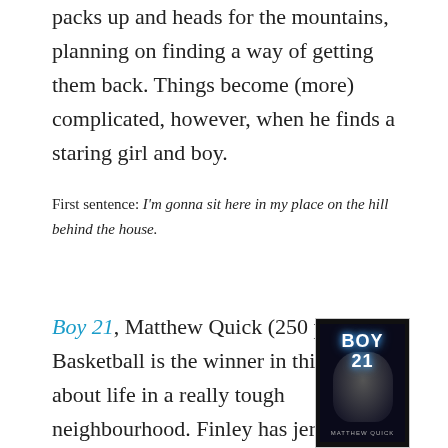packs up and heads for the mountains, planning on finding a way of getting them back. Things become (more) complicated, however, when he finds a staring girl and boy.
First sentence: I'm gonna sit here in my place on the hill behind the house.
Boy 21, Matthew Quick (250 pages) – Basketball is the winner in this book about life in a really tough neighbourhood. Finley has jersey number 21, and basketball is the one really good thing in his hard life. Russ has just moved into town following a tragedy, and refuses to play basketball, although he is known only as Boy21,
[Figure (photo): Book cover of Boy 21 by Matthew Quick — dark cover with a face and stylized glowing title text]